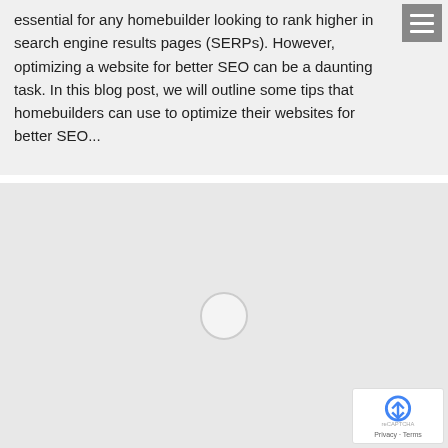essential for any homebuilder looking to rank higher in search engine results pages (SERPs). However, optimizing a website for better SEO can be a daunting task. In this blog post, we will outline some tips that homebuilders can use to optimize their websites for better SEO...
[Figure (other): Large light gray placeholder content area with a circular loading spinner in the center, and a reCAPTCHA badge in the bottom-right corner.]